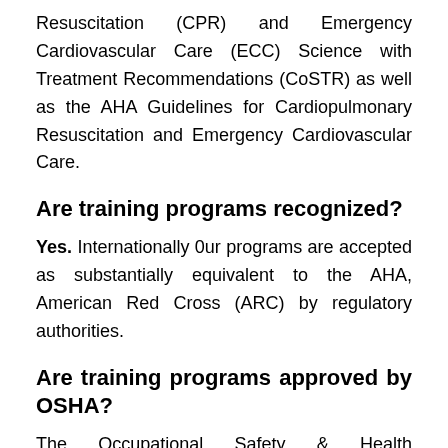Resuscitation (CPR) and Emergency Cardiovascular Care (ECC) Science with Treatment Recommendations (CoSTR) as well as the AHA Guidelines for Cardiopulmonary Resuscitation and Emergency Cardiovascular Care.
Are training programs recognized?
Yes. Internationally 0ur programs are accepted as substantially equivalent to the AHA, American Red Cross (ARC) by regulatory authorities.
Are training programs approved by OSHA?
The Occupational Safety & Health Administration